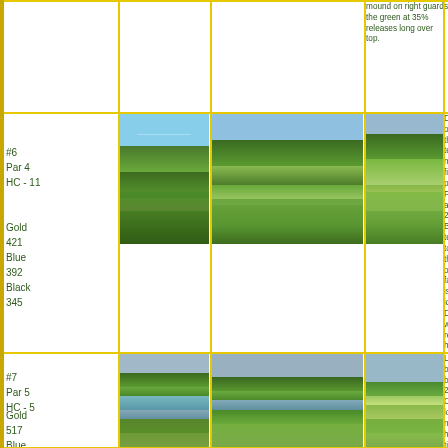mound on right guards the green at 35% releases long over top.
#6
Par 4
HC - 11
Gold
421
Blue
392
Black
345
[Figure (photo): Golf course hole #6 fairway view - left photo]
[Figure (photo): Golf course hole #6 fairway view - center photo]
[Figure (photo): Golf course hole #6 approach view - right photo]
Driver off these tees my find pr... Playing a 200yd Blue tees to the of fairway is id... Driver will requ... high draw over formation. Fair... bends left. Rig... begins at 133yd CG. 40yd deep Front 305 slope front and slight... funnels to midd 1/5 releases rig... 5-60% depth an... 905 depth. Righ... release left 0-60 Right 1/5 from depth right and over the top of
#7
Par 5
HC - 5
Gold
517
Blue
506
Black
488
[Figure (photo): Golf course hole #7 fairway with water hazard - left photo]
[Figure (photo): Golf course hole #7 fairway view - center photo]
[Figure (photo): Golf course hole #7 green approach - right photo]
Left bunker beg... 271yd CG. long... must hug tightl... draw into the fa... Water protects o... the left 2/3 of t... Bunker shy of t... begins at 62yd Green angles le... 1/2 of front 60%... releases left. Ri... left edge at 50%... releases long ov... top. Back right... slopes to the fro... left.